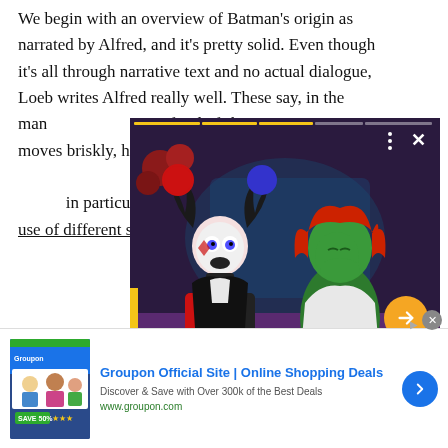We begin with an overview of Batman's origin as narrated by Alfred, and it's pretty solid. Even though it's all through narrative text and no actual dialogue, Loeb writes Alfred really well. These say, in the manner afraid of showing moves briskly, h The Mark of Zo and Bruce's vow in particular are monochromatic with the use of different shades of red,
[Figure (screenshot): Video overlay showing animated cartoon characters - Harley Quinn (in black and red jester costume with pigtails) and Poison Ivy (green-skinned character with red hair) in an animated scene. The video player has a progress bar at the top with yellow segments, three-dot menu icon, an X close button, a yellow left sidebar bar, and an orange circular arrow button for navigation.]
[Figure (screenshot): Advertisement banner for Groupon Official Site | Online Shopping Deals. Shows 'Discover & Save with Over 300k of the Best Deals' and 'www.groupon.com'. Has a blue circle arrow button on the right. Ad close button (X) in grey circle at top right of ad area.]